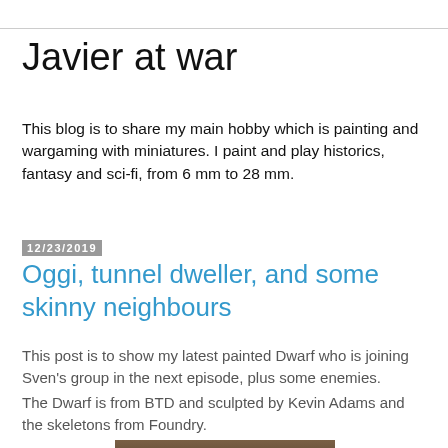Javier at war
This blog is to share my main hobby which is painting and wargaming with miniatures. I paint and play historics, fantasy and sci-fi, from 6 mm to 28 mm.
12/23/2019
Oggi, tunnel dweller, and some skinny neighbours
This post is to show my latest painted Dwarf who is joining Sven's group in the next episode, plus some enemies.
The Dwarf is from BTD and sculpted by Kevin Adams and the skeletons from Foundry.
[Figure (photo): Partial photo of a painted miniature figure, showing reddish/pink color at the bottom, set against a rocky/earthy background.]